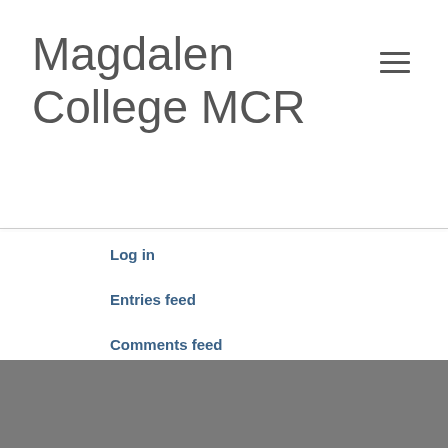Magdalen College MCR
Log in
Entries feed
Comments feed
WordPress.org
Buy amoxil canada